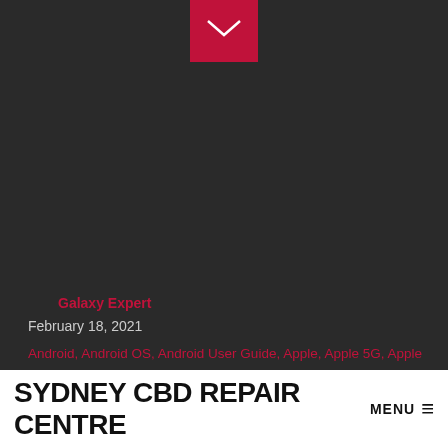[Figure (other): Red envelope/email icon button at top center on dark background]
Galaxy Expert
February 18, 2021
Android, Android OS, Android User Guide, Apple, Apple 5G, Apple iOs, Apple Mac, Apple Watch User Guide, Featured, iOS, iPad User Guide, iPhone User Guide, Lifestyle, Mac User Guide, News, Repair Service, Review, Smartphones, Top Stories, windows, World
SYDNEY CBD REPAIR CENTRE
MENU ≡